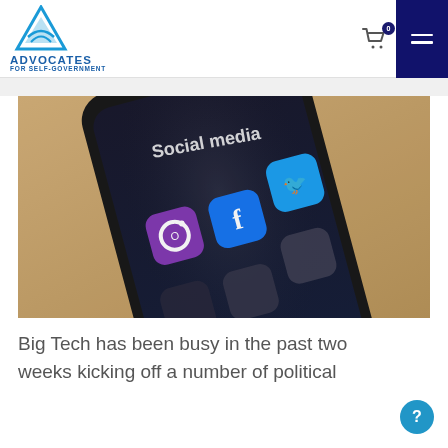ADVOCATES FOR SELF-GOVERNMENT
[Figure (photo): Close-up photograph of a smartphone displaying a 'Social media' screen with app icons for Instagram, Facebook, and Twitter, resting on a wooden surface.]
Big Tech has been busy in the past two weeks kicking off a number of political